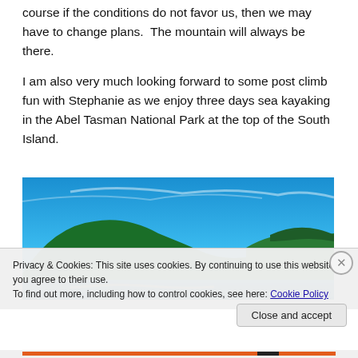course if the conditions do not favor us, then we may have to change plans.  The mountain will always be there.
I am also very much looking forward to some post climb fun with Stephanie as we enjoy three days sea kayaking in the Abel Tasman National Park at the top of the South Island.
[Figure (photo): Panoramic photo of a coastal scene with forested hills and a bay under a bright blue sky, likely Abel Tasman National Park, New Zealand.]
Privacy & Cookies: This site uses cookies. By continuing to use this website, you agree to their use.
To find out more, including how to control cookies, see here: Cookie Policy
Close and accept